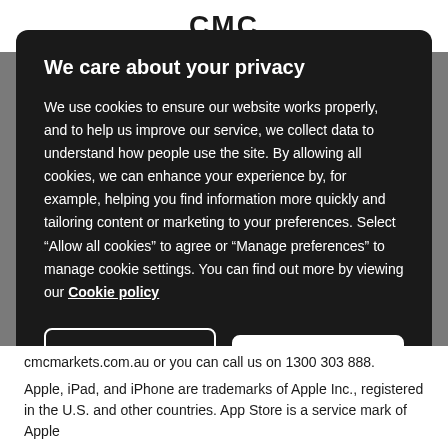CMC
We care about your privacy
We use cookies to ensure our website works properly, and to help us improve our service, we collect data to understand how people use the site. By allowing all cookies, we can enhance your experience by, for example, helping you find information more quickly and tailoring content or marketing to your preferences. Select “Allow all cookies” to agree or “Manage preferences” to manage cookie settings. You can find out more by viewing our Cookie policy
MANAGE PREFERENCES
ALLOW ALL COOKIES
cmcmarkets.com.au or you can call us on 1300 303 888.
Apple, iPad, and iPhone are trademarks of Apple Inc., registered in the U.S. and other countries. App Store is a service mark of Apple